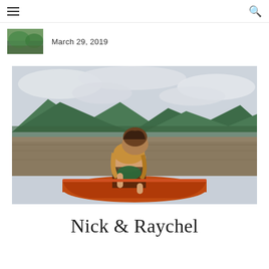☰ [menu] [search]
[Figure (photo): Small thumbnail photo showing green foliage/nature scene]
March 29, 2019
[Figure (photo): Two people (a couple, Nick and Raychel) sitting together on an orange rowboat on a muddy river with green mountains and cloudy sky in the background]
Nick & Raychel